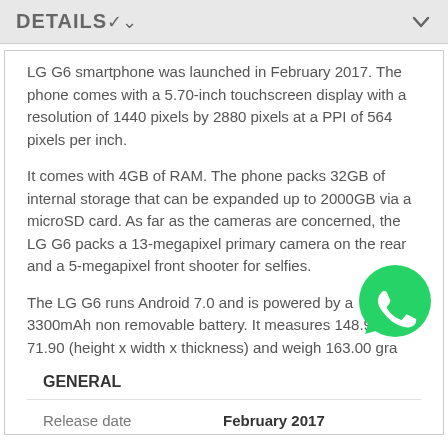DETAILS
LG G6 smartphone was launched in February 2017. The phone comes with a 5.70-inch touchscreen display with a resolution of 1440 pixels by 2880 pixels at a PPI of 564 pixels per inch.
It comes with 4GB of RAM. The phone packs 32GB of internal storage that can be expanded up to 2000GB via a microSD card. As far as the cameras are concerned, the LG G6 packs a 13-megapixel primary camera on the rear and a 5-megapixel front shooter for selfies.
The LG G6 runs Android 7.0 and is powered by a 3300mAh non removable battery. It measures 148.90 x 71.90 (height x width x thickness) and weigh 163.00 gra
GENERAL
|  |  |
| --- | --- |
| Release date | February 2017 |
| Form factor | Touchscreen |